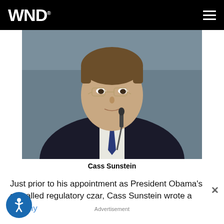WND
[Figure (photo): Headshot of Cass Sunstein, a man in a dark suit with a blue striped tie, wearing glasses, seated at a microphone in front of a grey background.]
Cass Sunstein
Just prior to his appointment as President Obama's so-called regulatory czar, Cass Sunstein wrote a lengthy [linked text] ...